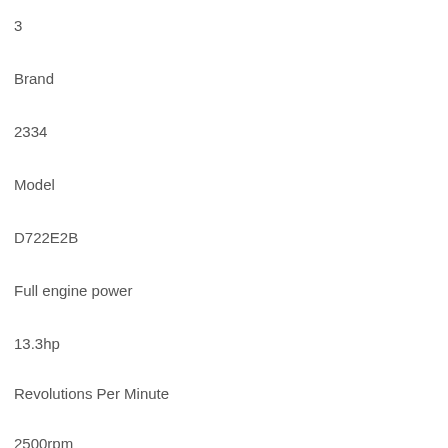3
Brand
2334
Model
D722E2B
Full engine power
13.3hp
Revolutions Per Minute
2500rpm
Engine displacement